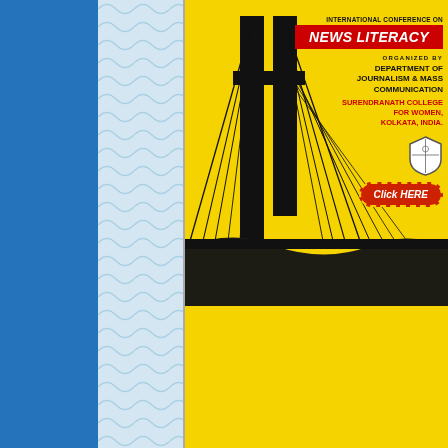[Figure (infographic): International Conference on News Literacy poster with bridge image, organized by Department of Journalism & Mass Communication, Surendranath College for Women, Kolkata, India. Details: Gitanjali Auditorium, January 18, 2016, email: iamcr.india@gmail.com, facebook.com/iamcr.india. Click HERE button.]
International Association for Media and Communication Research – IAMCR – is the preeminent worldwide professional organisation in the field of media and